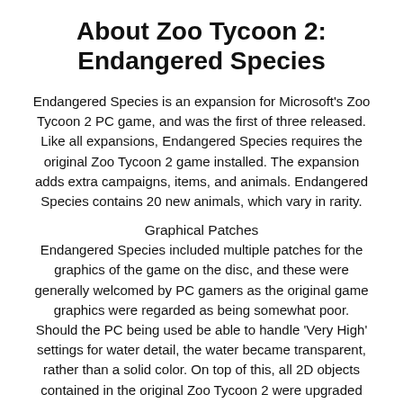About Zoo Tycoon 2: Endangered Species
Endangered Species is an expansion for Microsoft's Zoo Tycoon 2 PC game, and was the first of three released. Like all expansions, Endangered Species requires the original Zoo Tycoon 2 game installed. The expansion adds extra campaigns, items, and animals. Endangered Species contains 20 new animals, which vary in rarity.
Graphical Patches
Endangered Species included multiple patches for the graphics of the game on the disc, and these were generally welcomed by PC gamers as the original game graphics were regarded as being somewhat poor. Should the PC being used be able to handle ‘Very High’ settings for water detail, the water became transparent, rather than a solid color. On top of this, all 2D objects contained in the original Zoo Tycoon 2 were upgraded